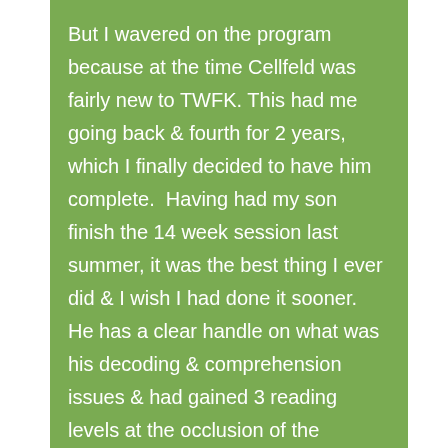But I wavered on the program because at the time Cellfeld was fairly new to TWFK. This had me going back & fourth for 2 years, which I finally decided to have him complete. Having had my son finish the 14 week session last summer, it was the best thing I ever did & I wish I had done it sooner. He has a clear handle on what was his decoding & comprehension issues & had gained 3 reading levels at the occlusion of the program. I am considering doing 2 more rounds as I write this, to give him a leg up for